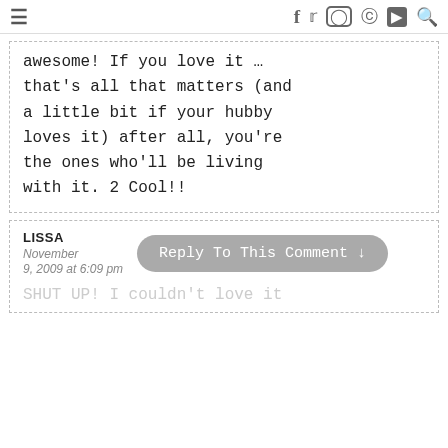≡  f  t  [instagram]  [pinterest]  [youtube]  [search]
awesome! If you love it … that's all that matters (and a little bit if your hubby loves it) after all, you're the ones who'll be living with it. 2 Cool!!
LISSA
November 9, 2009 at 6:09 pm
Reply To This Comment ↓
SHUT UP! I couldn't love it